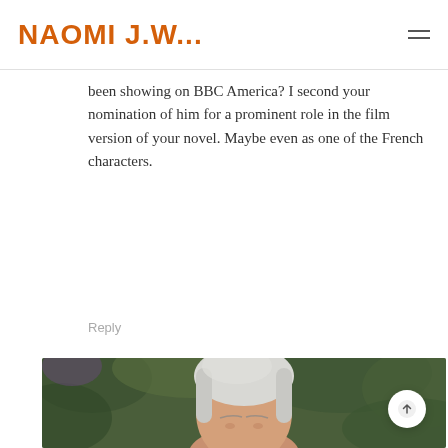NAOMI J.W...
been showing on BBC America? I second your nomination of him for a prominent role in the film version of your novel. Maybe even as one of the French characters.
Reply
[Figure (photo): Close-up photo of a woman with short white/silver hair against a blurred green background, partially visible from the top portion of the image.]